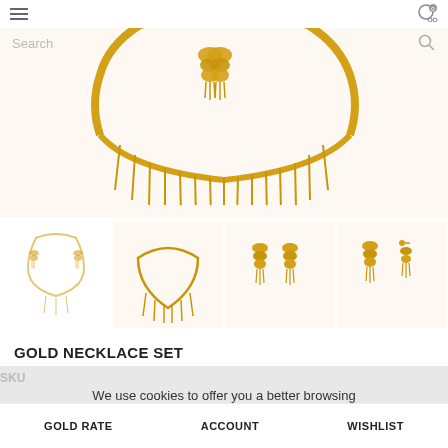[Figure (photo): Gold necklace set with matching earrings displayed on cream/beige background — main large product photo showing a decorative gold choker necklace with spike fringe and a pair of ornate chandelier earrings]
[Figure (photo): Four thumbnail product images: (1) full necklace set outline view, (2) necklace detail close-up, (3) pair of earrings front view, (4) earrings side/back view]
GOLD NECKLACE SET
SKU
We use cookies to offer you a better browsing experience. Click Accept to continue...
GOLD RATE   ACCOUNT   WISHLIST